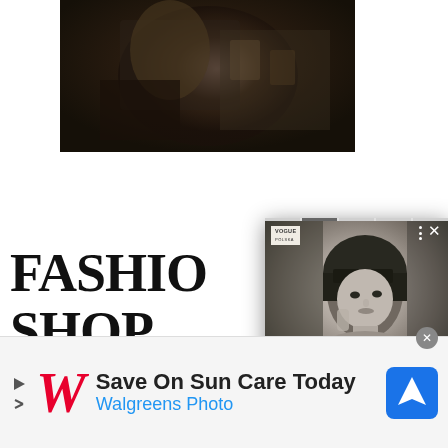[Figure (photo): Top photo strip showing a person in dark clothing with patterned fabric/pillow, dark tones]
FASHION
SHOP
[Figure (screenshot): Popup/modal overlay showing a black and white portrait of a young woman with a bob haircut, with a logo in top left, three-dot menu and close X in top right, arrow button on right side, and white space below]
[Figure (photo): Fashion photo showing peach/tan background with a person's lower body visible, shimmer clothing]
[Figure (infographic): Advertisement banner: Save On Sun Care Today - Walgreens Photo, with Walgreens W logo and Waze navigation icon]